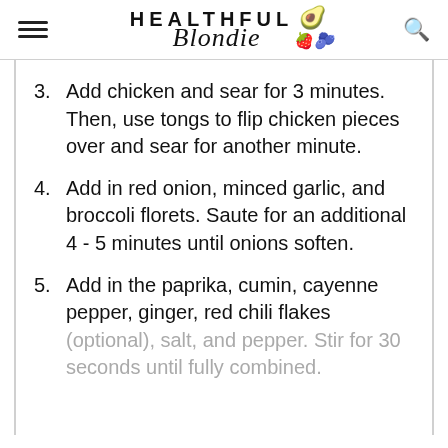HEALTHFUL Blondie
3. Add chicken and sear for 3 minutes. Then, use tongs to flip chicken pieces over and sear for another minute.
4. Add in red onion, minced garlic, and broccoli florets. Saute for an additional 4 - 5 minutes until onions soften.
5. Add in the paprika, cumin, cayenne pepper, ginger, red chili flakes (optional), salt, and pepper. Stir for 30 seconds until fully combined.